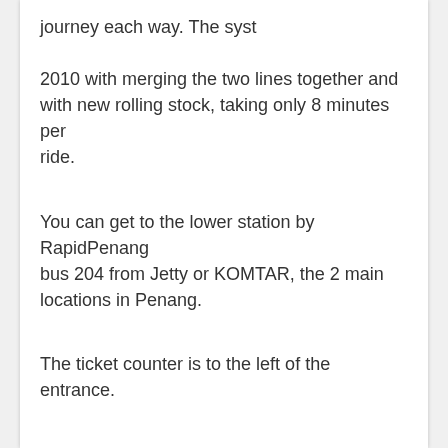journey each way. The system was upgraded in 2010 with merging the two lines together and with new rolling stock, taking only 8 minutes per ride.
You can get to the lower station by RapidPenang bus 204 from Jetty or KOMTAR, the 2 main locations in Penang.
The ticket counter is to the left of the entrance.